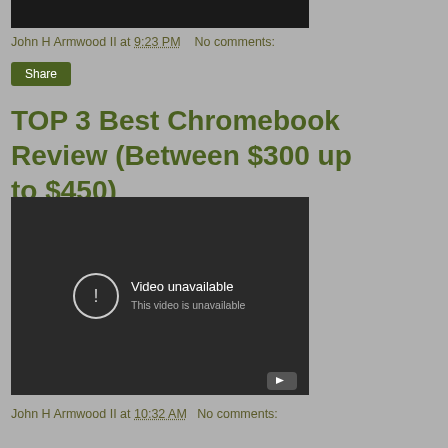[Figure (screenshot): Black video player thumbnail at top of page]
John H Armwood II at 9:23 PM   No comments:
Share
TOP 3 Best Chromebook Review (Between $300 up to $450)
[Figure (screenshot): Embedded video player showing 'Video unavailable - This video is unavailable' message on dark background with YouTube play button icon]
John H Armwood II at 10:32 AM   No comments: